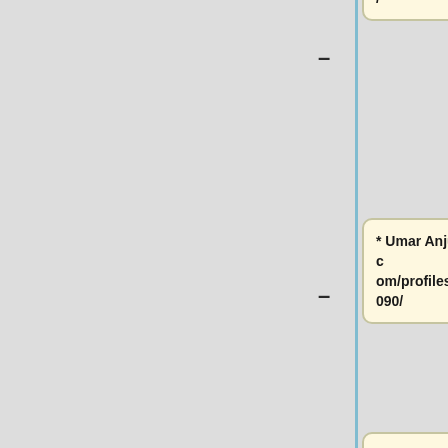::http://www.amara.org/en/profiles/profile/ramsy/
* Umar Anjum http://www.ted.com/profiles/934090/
::http://www.amara.org/en/profiles/profile/umaranjum/
* Irteza Ubaid http://www.ted.com/profiles/1110624
::http://www.amara.org/en/profiles/profile/irteza/